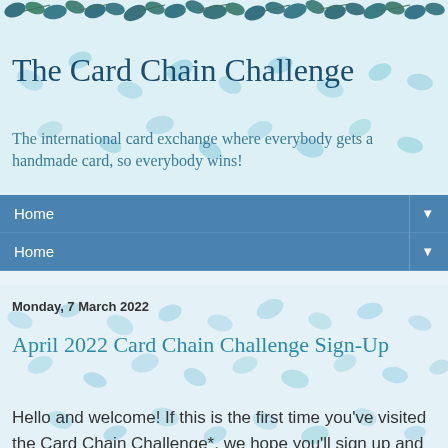The Card Chain Challenge
The international card exchange where everybody gets a handmade card, so everybody wins!
Home ▼
Home ▼
Monday, 7 March 2022
April 2022 Card Chain Challenge Sign-Up
Hello and welcome! If this is the first time you've visited the Card Chain Challenge*, we hope you'll sign up and join in the fun!